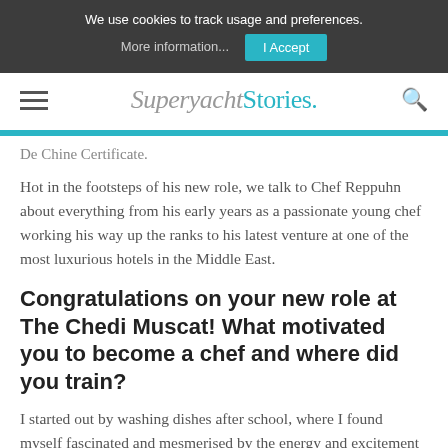We use cookies to track usage and preferences. More information... | I Accept
SuperyachtStories.
De Chine Certificate.
Hot in the footsteps of his new role, we talk to Chef Reppuhn about everything from his early years as a passionate young chef working his way up the ranks to his latest venture at one of the most luxurious hotels in the Middle East.
Congratulations on your new role at The Chedi Muscat! What motivated you to become a chef and where did you train?
I started out by washing dishes after school, where I found myself fascinated and mesmerised by the energy and excitement of the fast-paced